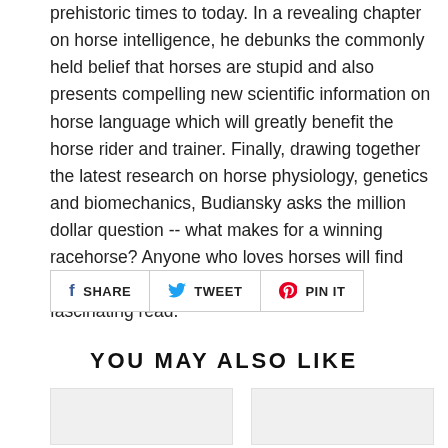prehistoric times to today. In a revealing chapter on horse intelligence, he debunks the commonly held belief that horses are stupid and also presents compelling new scientific information on horse language which will greatly benefit the horse rider and trainer. Finally, drawing together the latest research on horse physiology, genetics and biomechanics, Budiansky asks the million dollar question -- what makes for a winning racehorse? Anyone who loves horses will find this an invaluable resource as well as a fascinating read.
[Figure (other): Social sharing buttons: SHARE (Facebook), TWEET (Twitter), PIN IT (Pinterest)]
YOU MAY ALSO LIKE
[Figure (other): Two product image placeholders shown as grey boxes side by side]